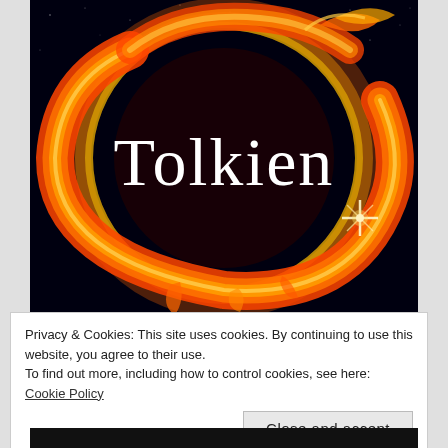[Figure (illustration): A fiery ring/circle made of flames (orange, red, yellow) on a black starry background with the word 'Tolkien' in large white serif font in the center of the ring. The fire forms a circular dragon or ring shape reminiscent of the One Ring motif.]
Privacy & Cookies: This site uses cookies. By continuing to use this website, you agree to their use.
To find out more, including how to control cookies, see here: Cookie Policy
Close and accept